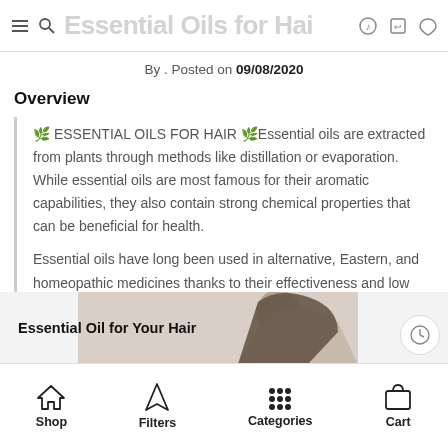Essential Oils for Hair
By . Posted on 09/08/2020
Overview
🌿 ESSENTIAL OILS FOR HAIR 🌿Essential oils are extracted from plants through methods like distillation or evaporation. While essential oils are most famous for their aromatic capabilities, they also contain strong chemical properties that can be beneficial for health.

Essential oils have long been used in alternative, Eastern, and homeopathic medicines thanks to their effectiveness and low risk of side effects.
[Figure (photo): Banner image showing a woman with dark hair, with text overlay 'Essential Oil for Your Hair']
Shop | Filters | Categories | Cart